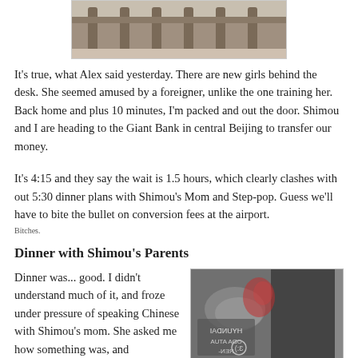[Figure (photo): Partial photo showing a railing or fence structure outdoors, brownish tones]
It's true, what Alex said yesterday. There are new girls behind the desk. She seemed amused by a foreigner, unlike the one training her. Back home and plus 10 minutes, I'm packed and out the door. Shimou and I are heading to the Giant Bank in central Beijing to transfer our money.
It's 4:15 and they say the wait is 1.5 hours, which clearly clashes with out 5:30 dinner plans with Shimou's Mom and Step-pop. Guess we'll have to bite the bullet on conversion fees at the airport.
Bitches.
Dinner with Shimou's Parents
Dinner was... good. I didn't understand much of it, and froze under pressure of speaking Chinese with Shimou's mom. She asked me how something was, and
[Figure (photo): View from inside a car looking out through a window, blurred outdoor scene with a Hyundai logo visible in reverse on the glass]